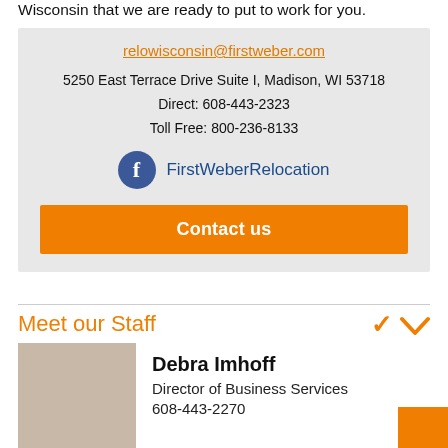Wisconsin that we are ready to put to work for you.
relowisconsin@firstweber.com
5250 East Terrace Drive Suite I, Madison, WI 53718
Direct: 608-443-2323
Toll Free: 800-236-8133
FirstWeberRelocation
Contact us
Meet our Staff
Debra Imhoff
Director of Business Services
608-443-2270